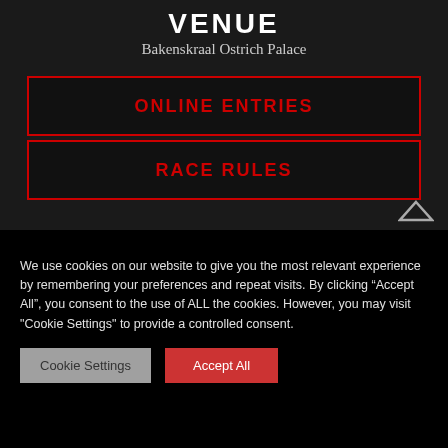VENUE
Bakenskraal Ostrich Palace
ONLINE ENTRIES
RACE RULES
We use cookies on our website to give you the most relevant experience by remembering your preferences and repeat visits. By clicking “Accept All”, you consent to the use of ALL the cookies. However, you may visit "Cookie Settings" to provide a controlled consent.
Cookie Settings
Accept All